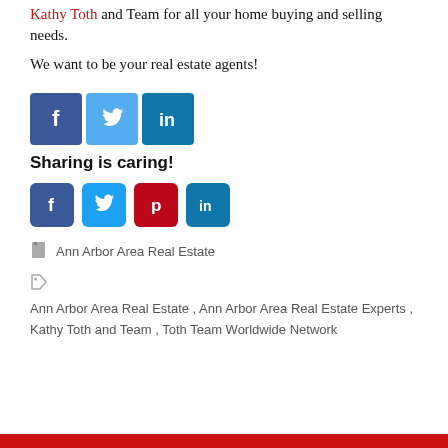Kathy Toth and Team for all your home buying and selling needs.
We want to be your real estate agents!
[Figure (illustration): Three social media icon buttons: Facebook (dark blue), Twitter (light blue), LinkedIn (blue)]
Sharing is caring!
[Figure (illustration): Four social share buttons: Facebook (dark blue), Twitter (light blue), Pinterest (red), LinkedIn (blue)]
Ann Arbor Area Real Estate
Ann Arbor Area Real Estate , Ann Arbor Area Real Estate Experts , Kathy Toth and Team , Toth Team Worldwide Network